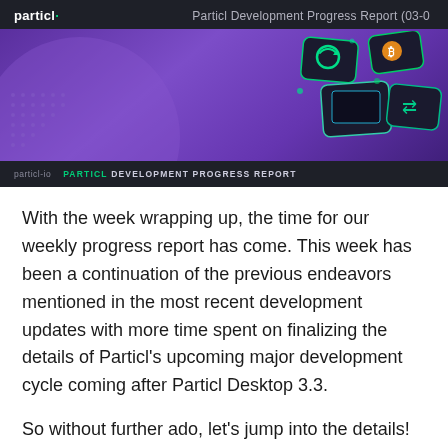particl. Particl Development Progress Report (03-0...
[Figure (illustration): Particl Development Progress Report banner with purple gradient background, floating dark card icons with green accents, dot pattern, and bottom bar with 'particl.io' and 'PARTICL DEVELOPMENT PROGRESS REPORT' label]
With the week wrapping up, the time for our weekly progress report has come. This week has been a continuation of the previous endeavors mentioned in the most recent development updates with more time spent on finalizing the details of Particl's upcoming major development cycle coming after Particl Desktop 3.3.
So without further ado, let's jump into the details!